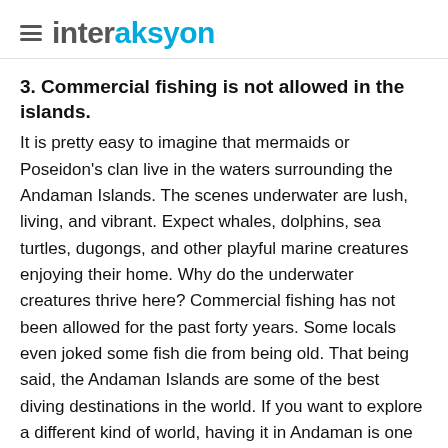interaksyon
3. Commercial fishing is not allowed in the islands.
It is pretty easy to imagine that mermaids or Poseidon's clan live in the waters surrounding the Andaman Islands. The scenes underwater are lush, living, and vibrant. Expect whales, dolphins, sea turtles, dugongs, and other playful marine creatures enjoying their home. Why do the underwater creatures thrive here? Commercial fishing has not been allowed for the past forty years. Some locals even joked some fish die from being old. That being said, the Andaman Islands are some of the best diving destinations in the world. If you want to explore a different kind of world, having it in Andaman is one of the best decisions you could do in your entire life.